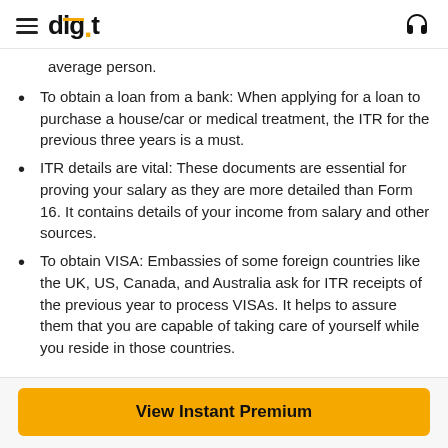digit
average person.
To obtain a loan from a bank: When applying for a loan to purchase a house/car or medical treatment, the ITR for the previous three years is a must.
ITR details are vital: These documents are essential for proving your salary as they are more detailed than Form 16. It contains details of your income from salary and other sources.
To obtain VISA: Embassies of some foreign countries like the UK, US, Canada, and Australia ask for ITR receipts of the previous year to process VISAs. It helps to assure them that you are capable of taking care of yourself while you reside in those countries.
View Instant Premium